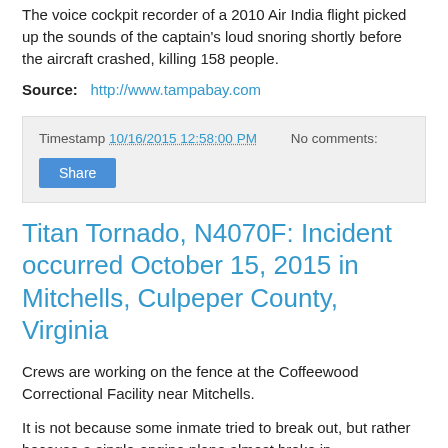The voice cockpit recorder of a 2010 Air India flight picked up the sounds of the captain's loud snoring shortly before the aircraft crashed, killing 158 people.
Source:  http://www.tampabay.com
Timestamp 10/16/2015 12:58:00 PM   No comments:
Share
Titan Tornado, N4070F: Incident occurred October 15, 2015 in Mitchells, Culpeper County, Virginia
Crews are working on the fence at the Coffeewood Correctional Facility near Mitchells.
It is not because some inmate tried to break out, but rather because a single-engine plane almost broke in.